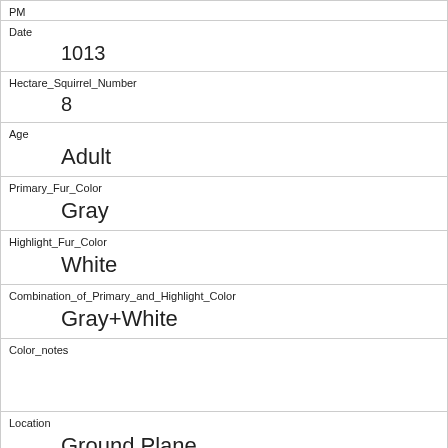| PM |  |
| Date | 1013 |
| Hectare_Squirrel_Number | 8 |
| Age | Adult |
| Primary_Fur_Color | Gray |
| Highlight_Fur_Color | White |
| Combination_of_Primary_and_Highlight_Color | Gray+White |
| Color_notes |  |
| Location | Ground Plane |
| Above_Ground_Sighter_Measurement | FALSE |
| Specific_Location |  |